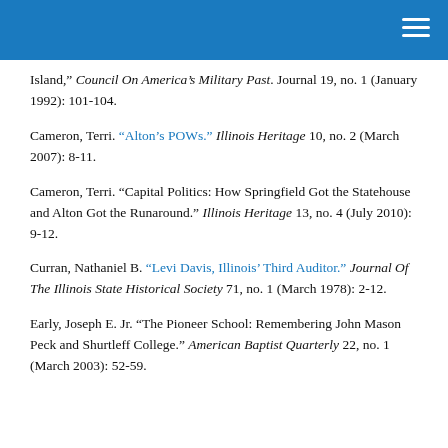Island,” Council On America’s Military Past. Journal 19, no. 1 (January 1992): 101-104.
Cameron, Terri. “Alton’s POWs.” Illinois Heritage 10, no. 2 (March 2007): 8-11.
Cameron, Terri. “Capital Politics: How Springfield Got the Statehouse and Alton Got the Runaround.” Illinois Heritage 13, no. 4 (July 2010): 9-12.
Curran, Nathaniel B. “Levi Davis, Illinois’ Third Auditor.” Journal Of The Illinois State Historical Society 71, no. 1 (March 1978): 2-12.
Early, Joseph E. Jr. “The Pioneer School: Remembering John Mason Peck and Shurtleff College.” American Baptist Quarterly 22, no. 1 (March 2003): 52-59.